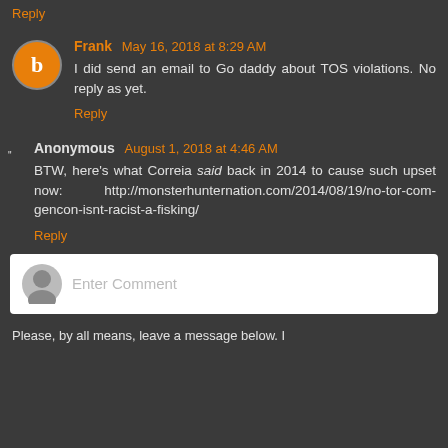Minor nit: it's 'rescind'. Great post, BTW.
Reply
Frank May 16, 2018 at 8:29 AM
I did send an email to Go daddy about TOS violations. No reply as yet.
Reply
Anonymous August 1, 2018 at 4:46 AM
BTW, here's what Correia said back in 2014 to cause such upset now: http://monsterhunternation.com/2014/08/19/no-tor-com-gencon-isnt-racist-a-fisking/
Reply
Enter Comment
Please, by all means, leave a message below. I